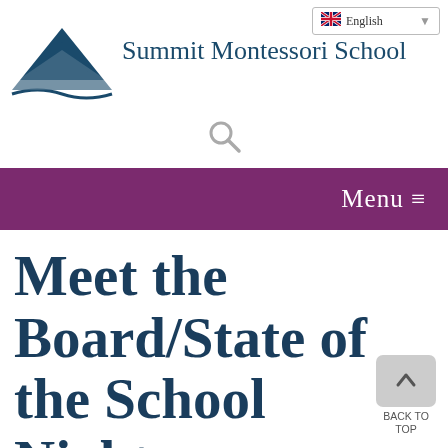[Figure (logo): Summit Montessori School logo: two stacked triangle mountain shapes in dark teal/navy with a curved wave element]
Summit Montessori School
English (language selector dropdown)
[Figure (other): Search magnifying glass icon in gray]
Menu ≡
Meet the Board/State of the School Night